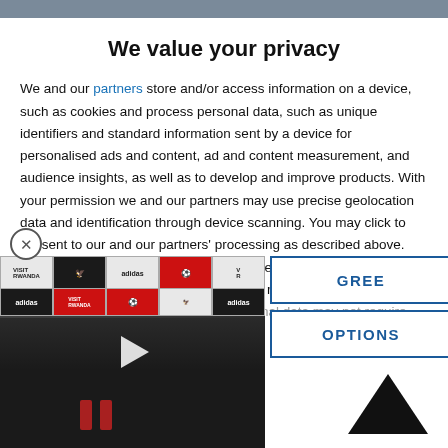We value your privacy
We and our partners store and/or access information on a device, such as cookies and process personal data, such as unique identifiers and standard information sent by a device for personalised ads and content, ad and content measurement, and audience insights, as well as to develop and improve products. With your permission we and our partners may use precise geolocation data and identification through device scanning. You may click to consent to our and our partners' processing as described above. Alternatively you may access more detailed information and change your preferences before consenting or to refuse consenting. Please note that some processing of your personal data may not require your consent, but you have a right to
[Figure (screenshot): Video thumbnail of Arsenal press conference with play button overlay]
GREE
OPTIONS